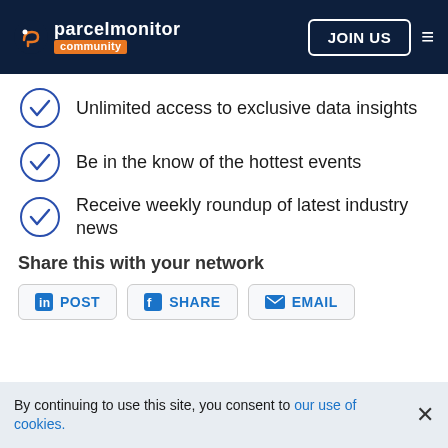parcelmonitor community — JOIN US
Unlimited access to exclusive data insights
Be in the know of the hottest events
Receive weekly roundup of latest industry news
Share this with your network
POST  SHARE  EMAIL
By continuing to use this site, you consent to our use of cookies.